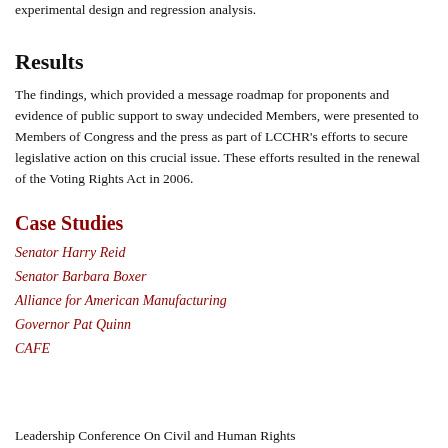experimental design and regression analysis.
Results
The findings, which provided a message roadmap for proponents and evidence of public support to sway undecided Members, were presented to Members of Congress and the press as part of LCCHR's efforts to secure legislative action on this crucial issue. These efforts resulted in the renewal of the Voting Rights Act in 2006.
Case Studies
Senator Harry Reid
Senator Barbara Boxer
Alliance for American Manufacturing
Governor Pat Quinn
CAFE
Leadership Conference On Civil and Human Rights